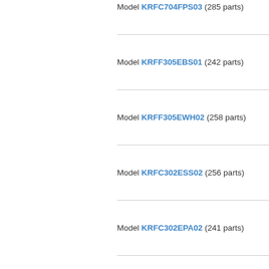Model KRFC704FPS03 (285 parts)
Model KRFF305EBS01 (242 parts)
Model KRFF305EWH02 (258 parts)
Model KRFC302ESS02 (256 parts)
Model KRFC302EPA02 (241 parts)
Model KRFF305ESS02 (258 parts)